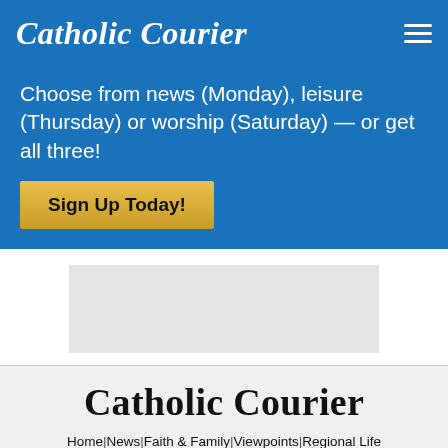Catholic Courier
Choose from news (Monday), leisure (Thursday) or worship (Saturday) — or get all three!
Sign Up Today!
[Figure (other): Gray ad placeholder rectangle]
Catholic Courier
Home | News | Faith & Family | Viewpoints | Regional Life
Special Sections | Multimedia | Entertainment
Customer Service | Courier Store | Accessibility | Privacy